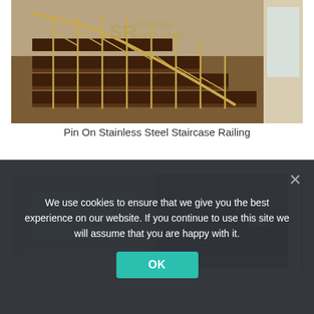[Figure (photo): Interior staircase with ornate gold/brass geometric railing balustrade and dark wood steps. SR Shri Ram Steel Craft watermark logo visible in upper center.]
Pin On Stainless Steel Staircase Railing
[Figure (photo): Split composite photo: left side shows a modern stainless steel glass panel staircase railing, right side shows a carpeted staircase with white newel post.]
We use cookies to ensure that we give you the best experience on our website. If you continue to use this site we will assume that you are happy with it.